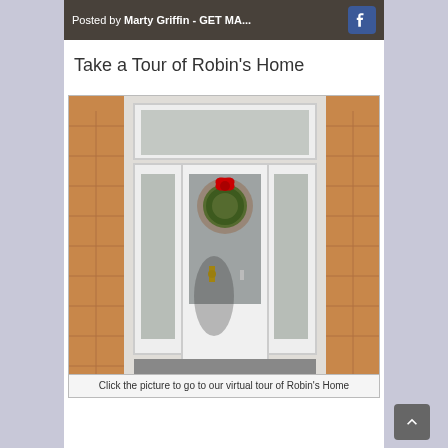[Figure (photo): Posted by Marty Griffin - GET MA... with Facebook icon overlay on a blurred building background]
Take a Tour of Robin's Home
[Figure (photo): Photograph of a white front door with sidelights and transom window, red holiday wreath, brick exterior]
Click the picture to go to our virtual tour of Robin's Home